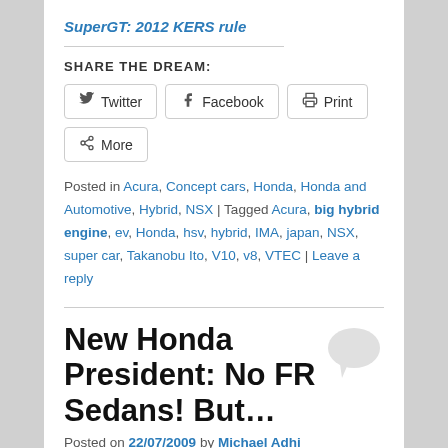SuperGT: 2012 KERS rule
SHARE THE DREAM:
Twitter  Facebook  Print  More
Posted in Acura, Concept cars, Honda, Honda and Automotive, Hybrid, NSX | Tagged Acura, big hybrid engine, ev, Honda, hsv, hybrid, IMA, japan, NSX, super car, Takanobu Ito, V10, v8, VTEC | Leave a reply
New Honda President: No FR Sedans! But…
Posted on 22/07/2009 by Michael Adhi
Straight from Honda new President, Takanobu Ito, Honda cancels development of rear wheel drive cars. A sad news for many enthusiasts because they balked at the